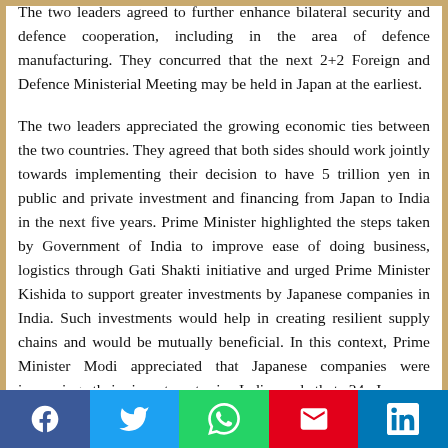The two leaders agreed to further enhance bilateral security and defence cooperation, including in the area of defence manufacturing. They concurred that the next 2+2 Foreign and Defence Ministerial Meeting may be held in Japan at the earliest.
The two leaders appreciated the growing economic ties between the two countries. They agreed that both sides should work jointly towards implementing their decision to have 5 trillion yen in public and private investment and financing from Japan to India in the next five years. Prime Minister highlighted the steps taken by Government of India to improve ease of doing business, logistics through Gati Shakti initiative and urged Prime Minister Kishida to support greater investments by Japanese companies in India. Such investments would help in creating resilient supply chains and would be mutually beneficial. In this context, Prime Minister Modi appreciated that Japanese companies were increasing their investments in India and that 24 Japanese companies had successfully applied under the various PLI schemes.
The two leaders noted the progress in implementation of Mumbai-Ahmedabad High Speed Rail (MAHSR) project
[Figure (other): Social media share bar with Facebook, Twitter, WhatsApp, Email, and LinkedIn buttons]